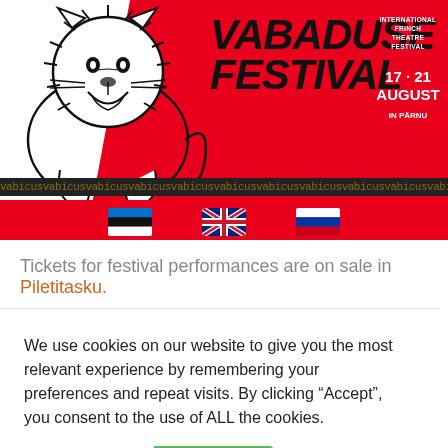[Figure (illustration): Vabaduse Festival header banner with red background, illustrated lion with human face, festival logo text, date information, chain decoration bar, and three flag icons (Estonian, UK, Russian) for language selection]
Tickets for festival performances are on sale in Piletitasku.
We use cookies on our website to give you the most relevant experience by remembering your preferences and repeat visits. By clicking “Accept”, you consent to the use of ALL the cookies.
Cookie settings   ACCEPT